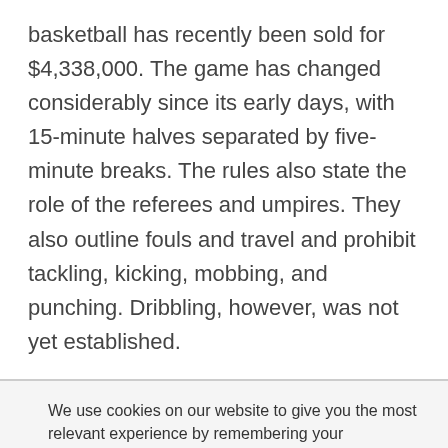basketball has recently been sold for $4,338,000. The game has changed considerably since its early days, with 15-minute halves separated by five-minute breaks. The rules also state the role of the referees and umpires. They also outline fouls and travel and prohibit tackling, kicking, mobbing, and punching. Dribbling, however, was not yet established.
We use cookies on our website to give you the most relevant experience by remembering your preferences and repeat visits. By clicking “Accept”, you consent to the use of ALL the cookies. Do not sell my personal information.